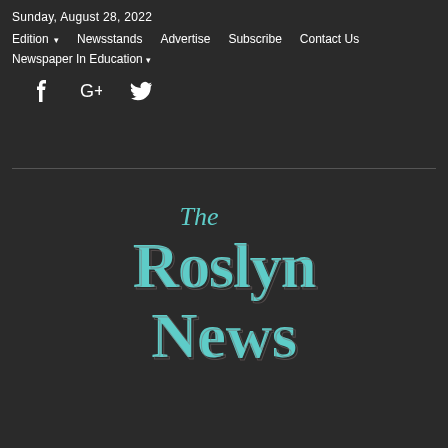Sunday, August 28, 2022
Edition ▾   Newsstands   Advertise   Subscribe   Contact Us
Newspaper In Education ▾
[Figure (logo): Social media icons: Facebook, Google+, Twitter]
[Figure (logo): The Roslyn News masthead logo in teal blackletter style on dark background]